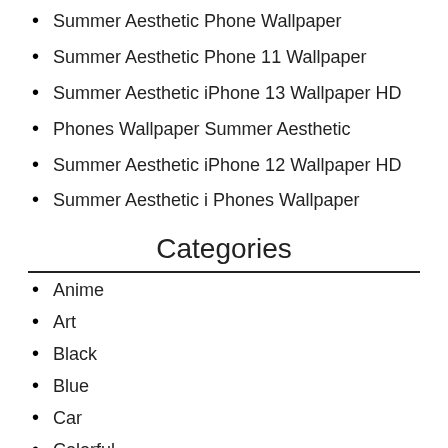Summer Aesthetic Phone Wallpaper
Summer Aesthetic Phone 11 Wallpaper
Summer Aesthetic iPhone 13 Wallpaper HD
Phones Wallpaper Summer Aesthetic
Summer Aesthetic iPhone 12 Wallpaper HD
Summer Aesthetic i Phones Wallpaper
Categories
Anime
Art
Black
Blue
Car
Colorful
Cool